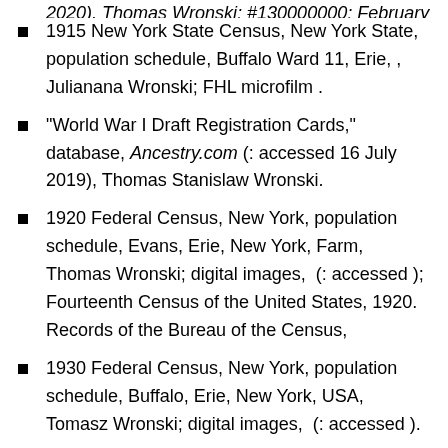1915 New York State Census, New York State, population schedule, Buffalo Ward 11, Erie, , Julianana Wronski; FHL microfilm .
“World War I Draft Registration Cards,” database, Ancestry.com (: accessed 16 July 2019), Thomas Stanislaw Wronski.
1920 Federal Census, New York, population schedule, Evans, Erie, New York, Farm, Thomas Wronski; digital images,  (: accessed ); Fourteenth Census of the United States, 1920. Records of the Bureau of the Census,
1930 Federal Census, New York, population schedule, Buffalo, Erie, New York, USA, Tomasz Wronski; digital images,  (: accessed ).
Ancestry, Julianna Wronska.
New York State, Death Index Beginning 1957,